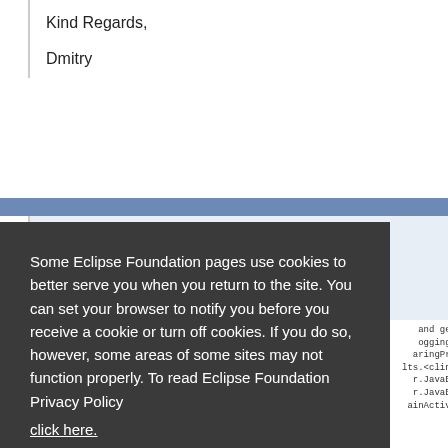Kind Regards,
Dmitry
Some Eclipse Foundation pages use cookies to better serve you when you return to the site. You can set your browser to notify you before you receive a cookie or turn off cookies. If you do so, however, some areas of some sites may not function properly. To read Eclipse Foundation Privacy Policy
click here.
Decline
Allow cookies
94736 is
and get
ogging/
aringPro
lts.<clini
r.JavaBe
r.JavaBe
ainActiva
at org eclipse osgi internal framework BundleContextImpl$3 run(